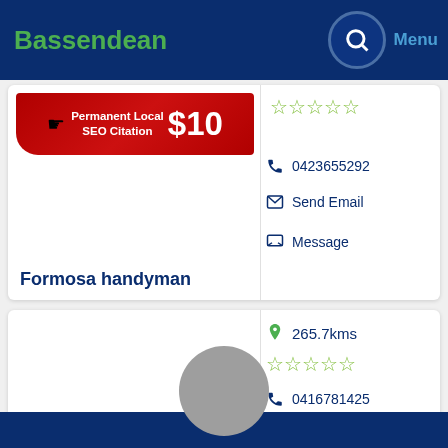Bassendean | Menu
[Figure (infographic): Red SEO banner: Permanent Local SEO Citation $10]
0423655292
Send Email
Message
Formosa handyman
265.7kms
0416781425
Send Email
Message
JJM Handyman Services